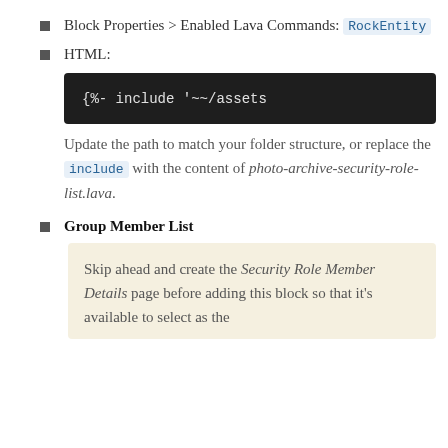Block Properties > Enabled Lava Commands: RockEntity
HTML:
[Figure (screenshot): Dark code block showing: {%- include '~~/assets]
Update the path to match your folder structure, or replace the include with the content of photo-archive-security-role-list.lava.
Group Member List
Skip ahead and create the Security Role Member Details page before adding this block so that it's available to select as the